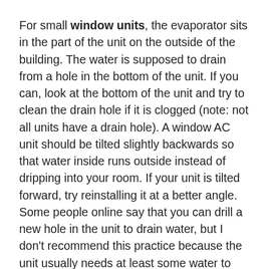For small window units, the evaporator sits in the part of the unit on the outside of the building. The water is supposed to drain from a hole in the bottom of the unit. If you can, look at the bottom of the unit and try to clean the drain hole if it is clogged (note: not all units have a drain hole). A window AC unit should be tilted slightly backwards so that water inside runs outside instead of dripping into your room. If your unit is tilted forward, try reinstalling it at a better angle. Some people online say that you can drill a new hole in the unit to drain water, but I don't recommend this practice because the unit usually needs at least some water to run at an optimal level.
For portable units, some models need to be manually drained. The drain has a temporary plug and is often located at the back of the unit near the bottom. You can